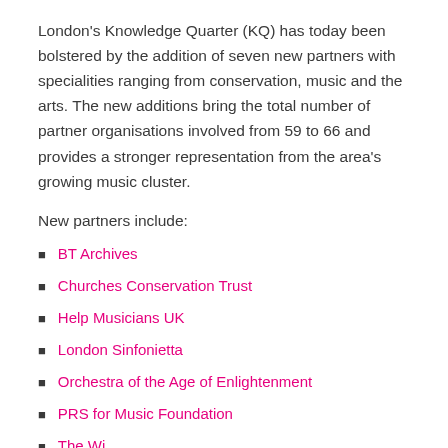London's Knowledge Quarter (KQ) has today been bolstered by the addition of seven new partners with specialities ranging from conservation, music and the arts. The new additions bring the total number of partner organisations involved from 59 to 66 and provides a stronger representation from the area's growing music cluster.
New partners include:
BT Archives
Churches Conservation Trust
Help Musicians UK
London Sinfonietta
Orchestra of the Age of Enlightenment
PRS for Music Foundation
The Winn…